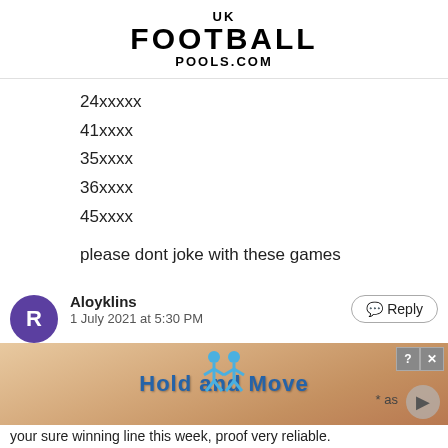UK FOOTBALL POOLS.COM
24xxxxx
41xxxx
35xxxx
36xxxx
45xxxx
please dont joke with these games
those love to nap 24xxxxx 41xxxx 45xxxx
Aloyklins
1 July 2021 at 5:30 PM
your sure winning line this week, proof very reliable.